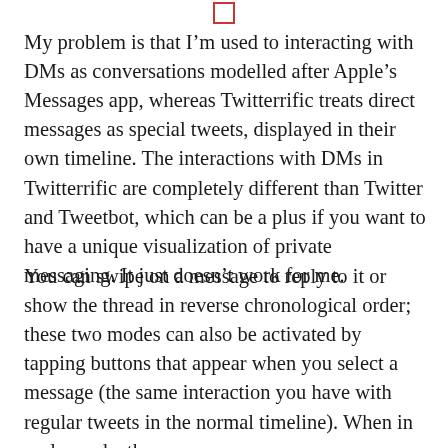[Figure (other): Small red outlined square icon at top center of page]
My problem is that I’m used to interacting with DMs as conversations modelled after Apple’s Messages app, whereas Twitterrific treats direct messages as special tweets, displayed in their own timeline. The interactions with DMs in Twitterrific are completely different than Twitter and Tweetbot, which can be a plus if you want to have a unique visualization of private messaging. It just doesn’t work for me.
You can swipe on a message to reply to it or show the thread in reverse chronological order; these two modes can also be activated by tapping buttons that appear when you select a message (the same interaction you have with regular tweets in the normal timeline). When in reply mode, the